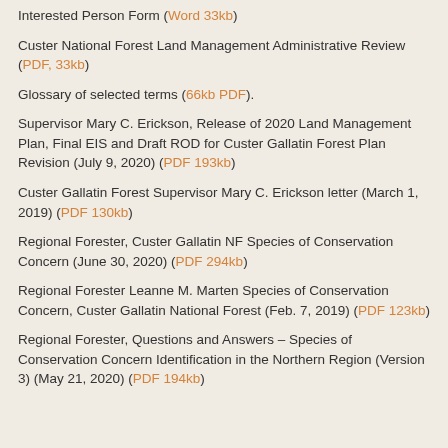Interested Person Form (Word 33kb)
Custer National Forest Land Management Administrative Review (PDF, 33kb)
Glossary of selected terms (66kb PDF).
Supervisor Mary C. Erickson, Release of 2020 Land Management Plan, Final EIS and Draft ROD for Custer Gallatin Forest Plan Revision (July 9, 2020) (PDF 193kb)
Custer Gallatin Forest Supervisor Mary C. Erickson letter (March 1, 2019) (PDF 130kb)
Regional Forester, Custer Gallatin NF Species of Conservation Concern (June 30, 2020) (PDF 294kb)
Regional Forester Leanne M. Marten Species of Conservation Concern, Custer Gallatin National Forest (Feb. 7, 2019) (PDF 123kb)
Regional Forester, Questions and Answers – Species of Conservation Concern Identification in the Northern Region (Version 3) (May 21, 2020) (PDF 194kb)